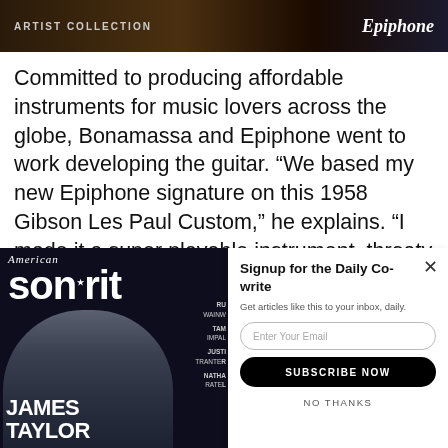[Figure (photo): Dark banner image with guitar/instruments in background, text 'ARTIST COLLECTION' on left and Epiphone logo on right]
Committed to producing affordable instruments for music lovers across the globe, Bonamassa and Epiphone went to work developing the guitar. “We based my new Epiphone signature on this 1958 Gibson Les Paul Custom,” he explains. “I made it a super playable instrument, throaty but clean, and the
[Figure (photo): American Songwriter magazine cover featuring James Taylor, with sidebar listing RU WAINW, TAM IMPAL, JUSTI TRANTER, NATHA RATEL]
Signup for the Daily Co-write
Get articles like this to your inbox, daily.
Enter Your Email
SUBSCRIBE NOW
NO THANKS